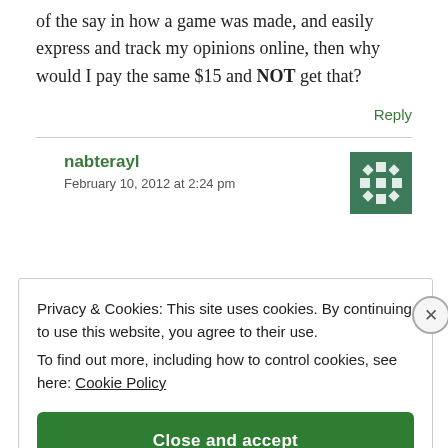of the say in how a game was made, and easily express and track my opinions online, then why would I pay the same $15 and NOT get that?
Reply
nabterayl
February 10, 2012 at 2:24 pm
Privacy & Cookies: This site uses cookies. By continuing to use this website, you agree to their use.
To find out more, including how to control cookies, see here: Cookie Policy
Close and accept